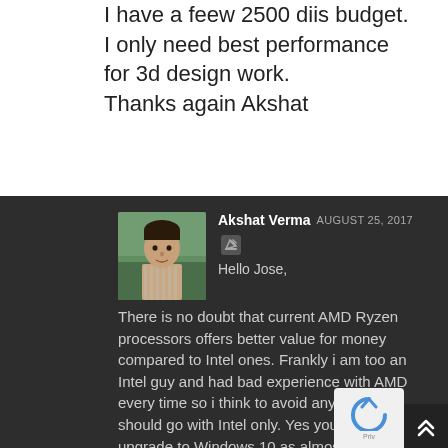I have a feew 2500 diis budget.
I only need best performance for 3d design work.
Thanks again Akshat
Akshat Verma AUGUST 25, 2017
Hello Jose,
There is no doubt that current AMD Ryzen processors offers better value for money compared to Intel ones. Frankly i am too an Intel guy and had bad experience with AMD every time so i think to avoid any risk you should go with Intel only. Yes you have to upgrade to Windows 10 as almost all latest generation processors and motherboards